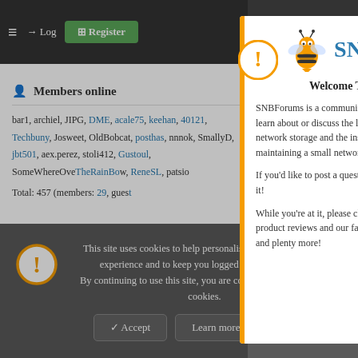SNBForums top navigation bar with hamburger menu, Login, Register, and icon buttons
mailbox. Sign up here!
Members online
bar1, archiel, JIPG, DME, acale75, keehan, 40121, Techbuny, Josweet, OldBobcat, posthas, nnnok, SmallyD, jbt501, aex.perez, stoli412, Gustoul, SomeWhereOverTheRainBow, ReneSL, patsio
Total: 457 (members: 29, guests: ...)
Forums > Wireless Networking > ASUS Wireless > Asuswrt-Merlin
[Figure (screenshot): SNBForums welcome modal dialog with logo, welcome message, and description text]
Welcome To SNBForums
SNBForums is a community for anyone who wants to learn about or discuss the latest in wireless routers, network storage and the ins and outs of building and maintaining a small network.
If you'd like to post a question, simply register and have at it!
While you're at it, please check out SmallNetBuilder for product reviews and our famous Router Charts, Ranker and plenty more!
This site uses cookies to help personalise content, tailor your experience and to keep you logged in if you register. By continuing to use this site, you are consenting to our use of cookies.
Accept | Learn more...